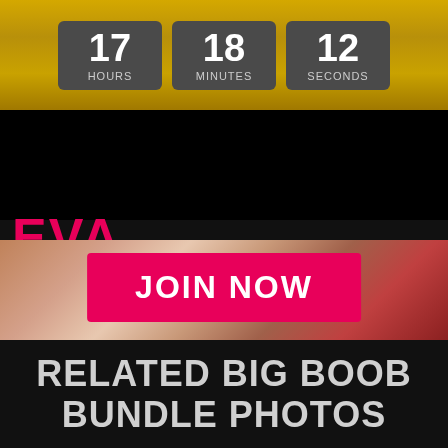17 HOURS  18 MINUTES  12 SECONDS
[Figure (screenshot): Website logo bar for EvaNotty Videos with pink/white text on black background and teal hamburger menu button]
[Figure (photo): Promotional adult content photo with JOIN NOW button overlay]
RELATED BIG BOOB BUNDLE PHOTOS